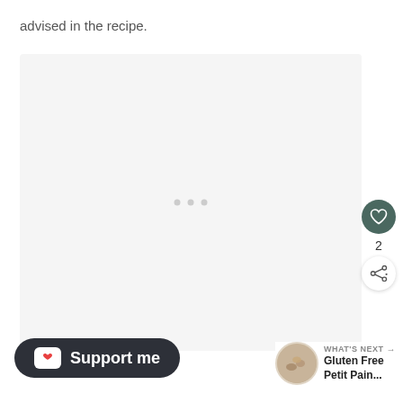advised in the recipe.
[Figure (photo): Large light gray image placeholder area with three small gray dots in the center, indicating a loading or empty image slot.]
2
Support me
WHAT'S NEXT → Gluten Free Petit Pain...